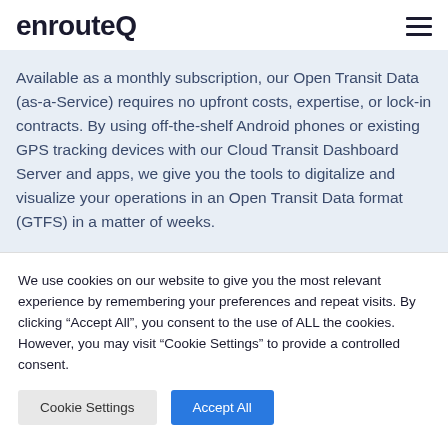enrouteQ
Available as a monthly subscription, our Open Transit Data (as-a-Service) requires no upfront costs, expertise, or lock-in contracts. By using off-the-shelf Android phones or existing GPS tracking devices with our Cloud Transit Dashboard Server and apps, we give you the tools to digitalize and visualize your operations in an Open Transit Data format (GTFS) in a matter of weeks.
We use cookies on our website to give you the most relevant experience by remembering your preferences and repeat visits. By clicking “Accept All”, you consent to the use of ALL the cookies. However, you may visit “Cookie Settings” to provide a controlled consent.